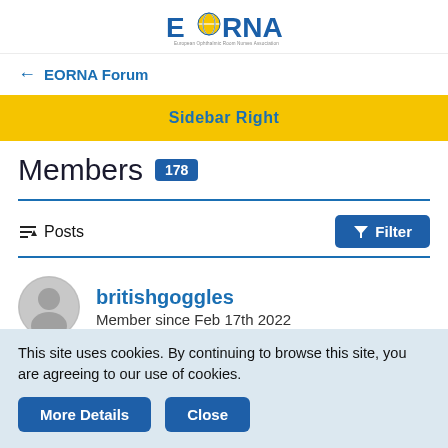EORNA – European Ophthalmic Nursing Room Nurses Association
← EORNA Forum
Sidebar Right
Members 178
Posts  Filter
britishgoggles
Member since Feb 17th 2022
This site uses cookies. By continuing to browse this site, you are agreeing to our use of cookies.